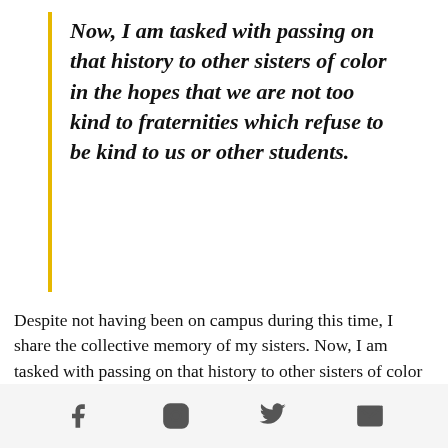Now, I am tasked with passing on that history to other sisters of color in the hopes that we are not too kind to fraternities which refuse to be kind to us or other students.
Despite not having been on campus during this time, I share the collective memory of my sisters. Now, I am tasked with passing on that history to other sisters of color in the hopes that we are not too kind to fraternities which refuse to be kind to us or other students.
[Figure (infographic): Social media share icons: Facebook, Instagram, Twitter, Email on a light gray footer bar]